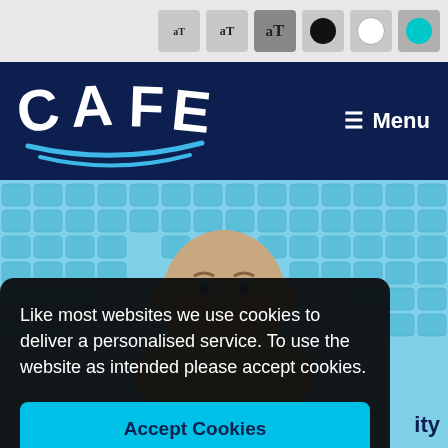[Figure (screenshot): Accessibility toolbar with text size buttons (small T, medium T, large T) and color theme circles (black, white, cyan selected)]
[Figure (logo): CAFE logo in white text on dark navy background with blue curved lines beneath, Menu hamburger button on the right]
[Figure (photo): A bald man smiling, photographed in front of blue stadium seats]
Like most websites we use cookies to deliver a personalised service. To use the website as intended please accept cookies.
Accept Cookies
ity